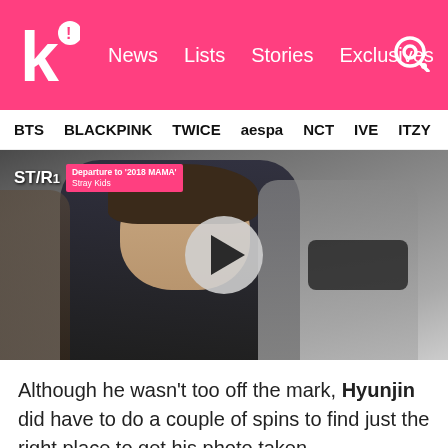k! News Lists Stories Exclusives
BTS BLACKPINK TWICE aespa NCT IVE ITZY
[Figure (screenshot): Video thumbnail of Stray Kids airport departure footage labeled 'Departure to 2018 MAMA' with a play button overlay. Shows K-pop group members including one in a leather jacket in the foreground and others with masks in the background. Star1 branding in top left corner.]
Although he wasn't too off the mark, Hyunjin did have to do a couple of spins to find just the right place to get his photo taken.